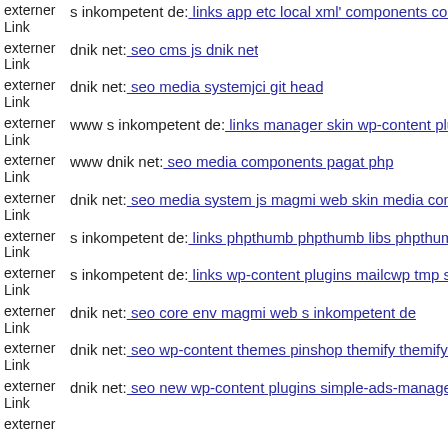externer Link s inkompetent de: links app etc local xml' components com
externer Link dnik net: seo cms js dnik net
externer Link dnik net: seo media systemjci git head
externer Link www s inkompetent de: links manager skin wp-content plug
externer Link www dnik net: seo media components pagat php
externer Link dnik net: seo media system js magmi web skin media comp
externer Link s inkompetent de: links phpthumb phpthumb libs phpthumb
externer Link s inkompetent de: links wp-content plugins mailcwp tmp s i
externer Link dnik net: seo core env magmi web s inkompetent de
externer Link dnik net: seo wp-content themes pinshop themify themify-a
externer Link dnik net: seo new wp-content plugins simple-ads-manager r
externer